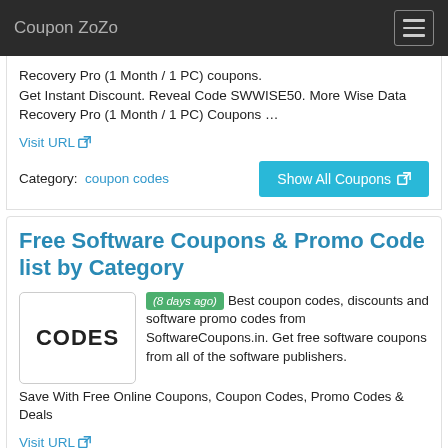Coupon ZoZo
Recovery Pro (1 Month / 1 PC) coupons. Get Instant Discount. Reveal Code SWWISE50. More Wise Data Recovery Pro (1 Month / 1 PC) Coupons …
Visit URL
Category: coupon codes
Show All Coupons
Free Software Coupons & Promo Code list by Category
[Figure (other): Gray bordered box with text CODES]
(8 days ago) Best coupon codes, discounts and software promo codes from SoftwareCoupons.in. Get free software coupons from all of the software publishers. Save With Free Online Coupons, Coupon Codes, Promo Codes & Deals
Visit URL